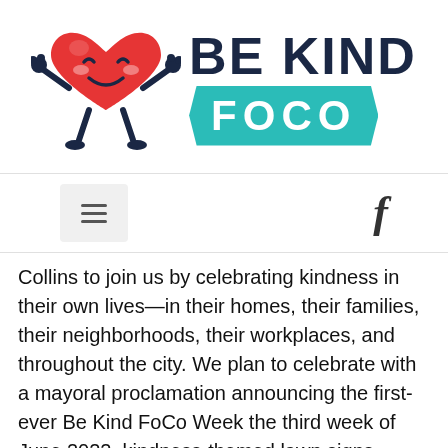[Figure (logo): Be Kind FoCo logo with a smiling heart mascot character with arms and legs, next to bold text 'BE KIND' in dark navy and 'FOCO' in white on a teal banner ribbon]
[Figure (infographic): Navigation bar with hamburger menu icon button on the left and Facebook 'f' icon on the right]
Collins to join us by celebrating kindness in their own lives—in their homes, their families, their neighborhoods, their workplaces, and throughout the city. We plan to celebrate with a mayoral proclamation announcing the first-ever Be Kind FoCo Week the third week of June 2022, kindness-themed lawn signs, chalk art, random acts of kindness, community fundraising nights, business philanthropy, family philanthropy, service learning,